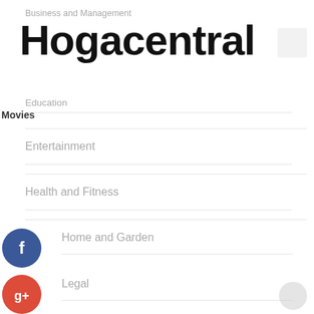Business and Management
Hogacentral
Education
Movies
Entertainment
Health and Fitness
Home and Garden
[Figure (logo): Facebook social share button (blue circle with f icon)]
Legal
[Figure (logo): Google Plus social share button (red circle with g+ icon)]
Main
[Figure (logo): Twitter social share button (blue circle with bird icon)]
[Figure (logo): Add/Plus social share button (dark circle with + icon)]
Marketing and Advertising
Pets